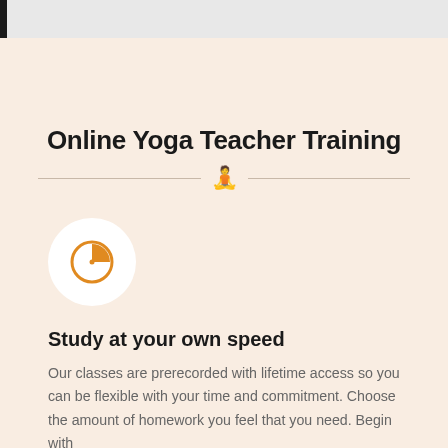Online Yoga Teacher Training
[Figure (illustration): Orange meditating person icon used as a decorative divider between horizontal lines]
[Figure (illustration): Orange clock/pie chart icon inside a white circle on a beige background]
Study at your own speed
Our classes are prerecorded with lifetime access so you can be flexible with your time and commitment. Choose the amount of homework you feel that you need. Begin with